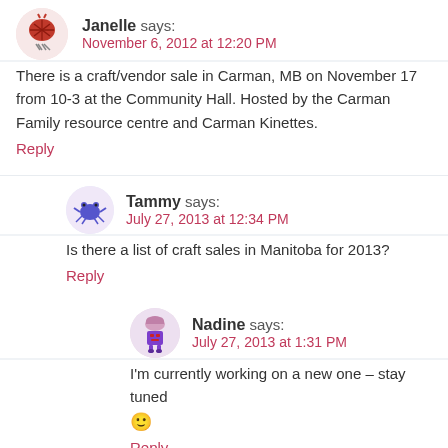Janelle says: November 6, 2012 at 12:20 PM
There is a craft/vendor sale in Carman, MB on November 17 from 10-3 at the Community Hall. Hosted by the Carman Family resource centre and Carman Kinettes.
Reply
Tammy says: July 27, 2013 at 12:34 PM
Is there a list of craft sales in Manitoba for 2013?
Reply
Nadine says: July 27, 2013 at 1:31 PM
I'm currently working on a new one – stay tuned 🙂
Reply